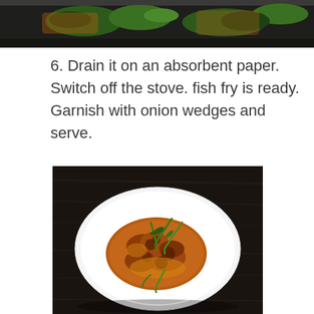[Figure (photo): Top portion of a cooking photo showing fish frying in a pan with greens/curry leaves, cropped at bottom]
6. Drain it on an absorbent paper. Switch off the stove. fish fry is ready. Garnish with onion wedges and serve.
[Figure (photo): A white oval plate on a dark wooden surface, holding a spice-crusted fried fish fillet garnished with green chillies and curry leaves]